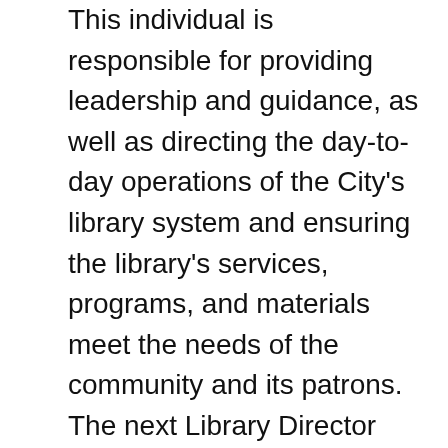This individual is responsible for providing leadership and guidance, as well as directing the day-to-day operations of the City's library system and ensuring the library's services, programs, and materials meet the needs of the community and its patrons. The next Library Director will be responsible for developing and implementing a vision for Abilene's Library System and developing long and short-range goals, including facilities and technology expansion, identification and development of funding sources, collections development, and public relations activities.
The Library Director reports to the Deputy